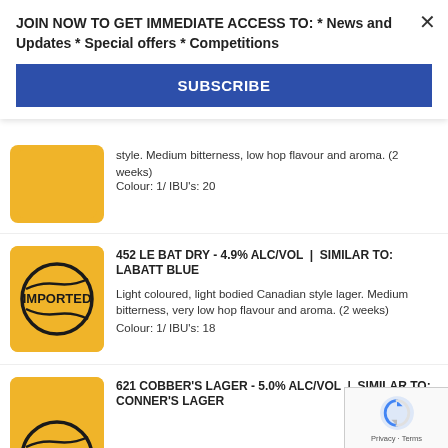JOIN NOW TO GET IMMEDIATE ACCESS TO: * News and Updates * Special offers * Competitions
SUBSCRIBE
style. Medium bitterness, low hop flavour and aroma. (2 weeks) Colour: 1/ IBU's: 20
452 LE BAT DRY - 4.9% ALC/VOL | SIMILAR TO: LABATT BLUE
Light coloured, light bodied Canadian style lager. Medium bitterness, very low hop flavour and aroma. (2 weeks) Colour: 1/ IBU's: 18
621 COBBER'S LAGER - 5.0% ALC/VOL | SIMILAR TO: CONNER'S LAGER